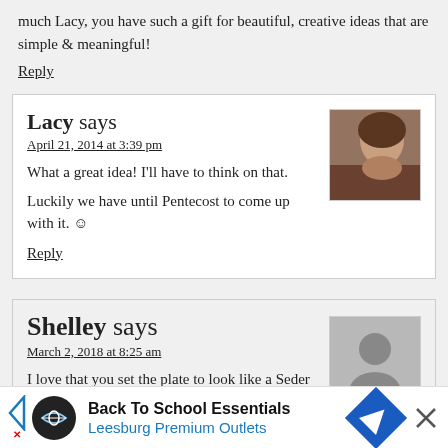much Lacy, you have such a gift for beautiful, creative ideas that are simple & meaningful!
Reply
Lacy says
April 21, 2014 at 3:39 pm
What a great idea! I'll have to think on that.
Luckily we have until Pentecost to come up with it. ☺
Reply
Shelley says
March 2, 2018 at 8:25 am
I love that you set the plate to look like a Seder offering. I didn't read through all of the comments so I hope I am
Back To School Essentials Leesburg Premium Outlets